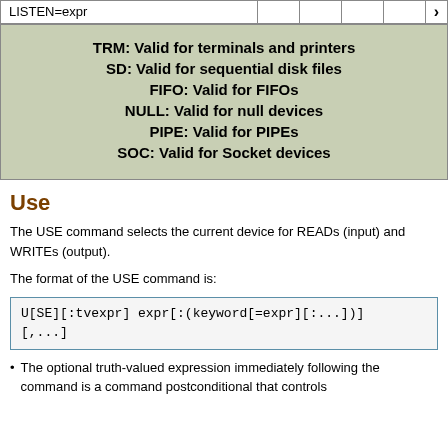| LISTEN=expr |  |  |  |  |  | > |
| --- | --- | --- | --- | --- | --- | --- |
| TRM: Valid for terminals and printers |
| SD: Valid for sequential disk files |
| FIFO: Valid for FIFOs |
| NULL: Valid for null devices |
| PIPE: Valid for PIPEs |
| SOC: Valid for Socket devices |
Use
The USE command selects the current device for READs (input) and WRITEs (output).
The format of the USE command is:
The optional truth-valued expression immediately following the command is a command postconditional that controls